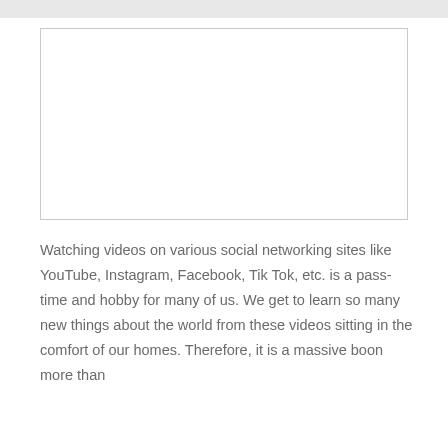[Figure (other): Empty white rectangular image placeholder with a light gray border]
Watching videos on various social networking sites like YouTube, Instagram, Facebook, Tik Tok, etc. is a pass-time and hobby for many of us. We get to learn so many new things about the world from these videos sitting in the comfort of our homes. Therefore, it is a massive boon...